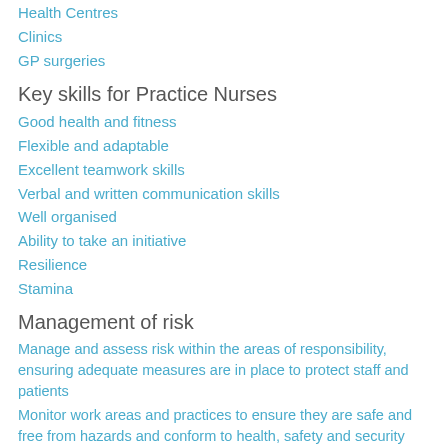Health Centres
Clinics
GP surgeries
Key skills for Practice Nurses
Good health and fitness
Flexible and adaptable
Excellent teamwork skills
Verbal and written communication skills
Well organised
Ability to take an initiative
Resilience
Stamina
Management of risk
Manage and assess risk within the areas of responsibility, ensuring adequate measures are in place to protect staff and patients
Monitor work areas and practices to ensure they are safe and free from hazards and conform to health, safety and security legislation, policies, procedures and guidelines